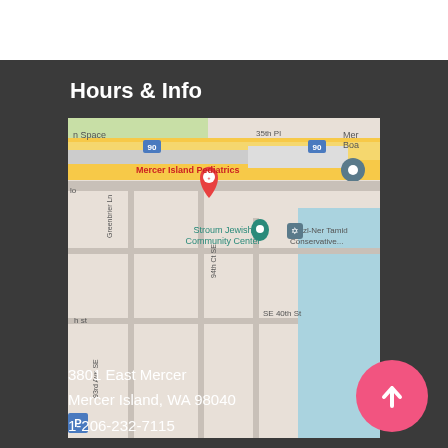Hours & Info
[Figure (map): Google Maps screenshot showing Mercer Island Pediatrics location near I-90 interchange, with Stroum Jewish Community Center, Herzl-Ner Tamid Conservative..., SE 40th St, SE 41st St, 93rd Ave SE, 97th Ave SE visible]
3801 East Mercer
Mercer Island, WA 98040
1-206-232-7115